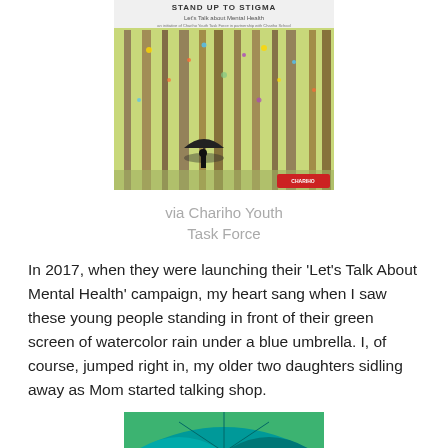[Figure (illustration): A square poster image with text 'STAND UP TO STIGMA' and 'Let's Talk about Mental Health' at the top, and a watercolor illustration of tall trees with colorful drips and a silhouette of a person holding an umbrella underneath. A logo appears in the bottom right corner.]
via Chariho Youth Task Force
In 2017, when they were launching their ‘Let’s Talk About Mental Health’ campaign, my heart sang when I saw these young people standing in front of their green screen of watercolor rain under a blue umbrella.  I, of course, jumped right in, my older two daughters sidling away as Mom started talking shop.
[Figure (photo): A person standing under a large teal/turquoise umbrella, photographed from the shoulders up against a green background.]